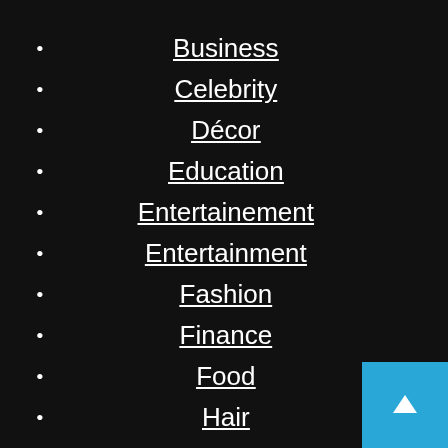Business
Celebrity
Décor
Education
Entertainement
Entertainment
Fashion
Finance
Food
Hair